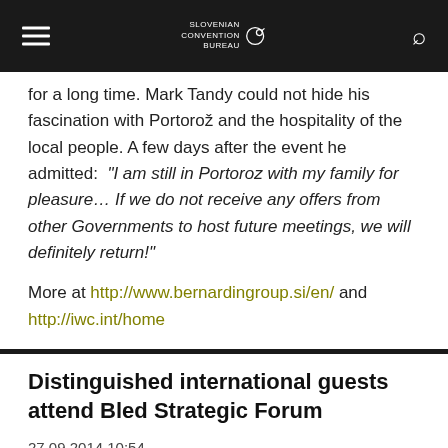Slovenian Convention Bureau
for a long time. Mark Tandy could not hide his fascination with Portorož and the hospitality of the local people. A few days after the event he admitted: "I am still in Portoroz with my family for pleasure… If we do not receive any offers from other Governments to host future meetings, we will definitely return!"
More at http://www.bernardingroup.si/en/ and http://iwc.int/home
Distinguished international guests attend Bled Strategic Forum
27.09.2014 10:54
On 1 and 2 September, Bled was hosting the 9th Bled